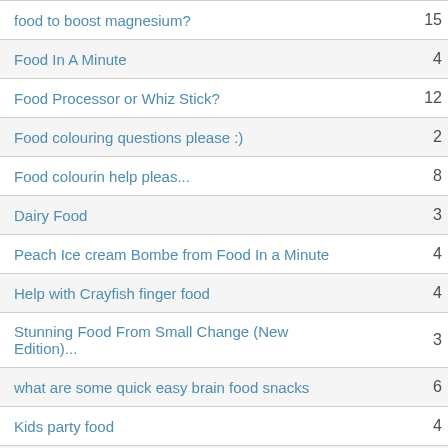| Topic | Count |
| --- | --- |
| food to boost magnesium? | 15 |
| Food In A Minute | 4 |
| Food Processor or Whiz Stick? | 12 |
| Food colouring questions please :) | 2 |
| Food colourin help pleas... | 8 |
| Dairy Food | 3 |
| Peach Ice cream Bombe from Food In a Minute | 4 |
| Help with Crayfish finger food | 4 |
| Stunning Food From Small Change (New Edition)... | 3 |
| what are some quick easy brain food snacks | 6 |
| Kids party food | 4 |
| Where to buy food grade rosewater? | 8 |